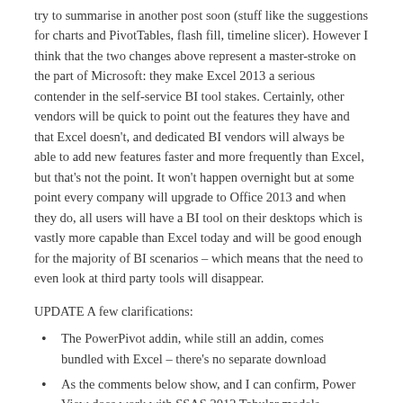try to summarise in another post soon (stuff like the suggestions for charts and PivotTables, flash fill, timeline slicer). However I think that the two changes above represent a master-stroke on the part of Microsoft: they make Excel 2013 a serious contender in the self-service BI tool stakes. Certainly, other vendors will be quick to point out the features they have and that Excel doesn't, and dedicated BI vendors will always be able to add new features faster and more frequently than Excel, but that's not the point. It won't happen overnight but at some point every company will upgrade to Office 2013 and when they do, all users will have a BI tool on their desktops which is vastly more capable than Excel today and will be good enough for the majority of BI scenarios – which means that the need to even look at third party tools will disappear.
UPDATE A few clarifications:
The PowerPivot addin, while still an addin, comes bundled with Excel – there's no separate download
As the comments below show, and I can confirm, Power View does work with SSAS 2012 Tabular models